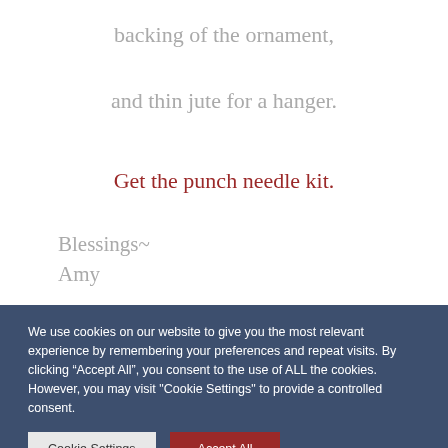backing of the ornament,
and thin jute for a hanger.
Get the punch needle kit.
Blessings~
Amy
We use cookies on our website to give you the most relevant experience by remembering your preferences and repeat visits. By clicking “Accept All”, you consent to the use of ALL the cookies. However, you may visit "Cookie Settings" to provide a controlled consent.